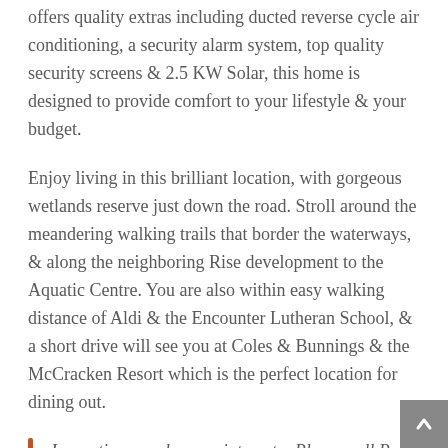offers quality extras including ducted reverse cycle air conditioning, a security alarm system, top quality security screens & 2.5 KW Solar, this home is designed to provide comfort to your lifestyle & your budget.
Enjoy living in this brilliant location, with gorgeous wetlands reserve just down the road. Stroll around the meandering walking trails that border the waterways, & along the neighboring Rise development to the Aquatic Centre. You are also within easy walking distance of Aldi & the Encounter Lutheran School, & a short drive will see you at Coles & Bunnings & the McCracken Resort which is the perfect location for dining out.
Inspections are by appointment – Please call Paul 0457 307 387 or Joanne 0407 524 401 to make a time to see inside this lovely home.
A very much loved & beautifully maintained home that presents so well, beginning with the shady, tendered front